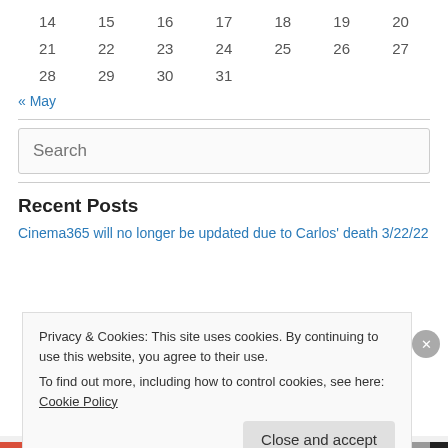| 14 | 15 | 16 | 17 | 18 | 19 | 20 |
| 21 | 22 | 23 | 24 | 25 | 26 | 27 |
| 28 | 29 | 30 | 31 |  |  |  |
« May
Search
Recent Posts
Cinema365 will no longer be updated due to Carlos' death 3/22/22
Privacy & Cookies: This site uses cookies. By continuing to use this website, you agree to their use.
To find out more, including how to control cookies, see here: Cookie Policy
Close and accept